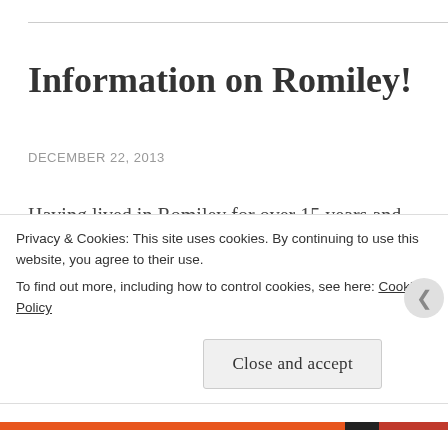Information on Romiley!
DECEMBER 22, 2013
Having lived in Romiley for over 15 years and my husband all his life! I know quite a lot about the town itself and am very pleased to be apart of the community ! I love all the local walks around Chadkirk , Werneth Low,  around Guywood, Church Lane   the canal and many more ! Many dogs have
Privacy & Cookies: This site uses cookies. By continuing to use this website, you agree to their use.
To find out more, including how to control cookies, see here: Cookie Policy
Close and accept